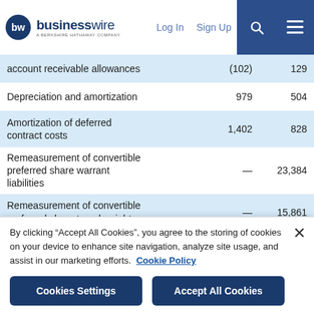businesswire — A BERKSHIRE HATHAWAY COMPANY | Log In | Sign Up
|  | Col1 | Col2 |
| --- | --- | --- |
| account receivable allowances | (102) | 129 |
| Depreciation and amortization | 979 | 504 |
| Amortization of deferred contract costs | 1,402 | 828 |
| Remeasurement of convertible preferred share warrant liabilities | — | 23,384 |
| Remeasurement of convertible preferred share tranche rights | — | 15,861 |
| Share-based compensation expense | 18,387 | 2,549 |
By clicking “Accept All Cookies”, you agree to the storing of cookies on your device to enhance site navigation, analyze site usage, and assist in our marketing efforts. Cookie Policy
Cookies Settings | Accept All Cookies